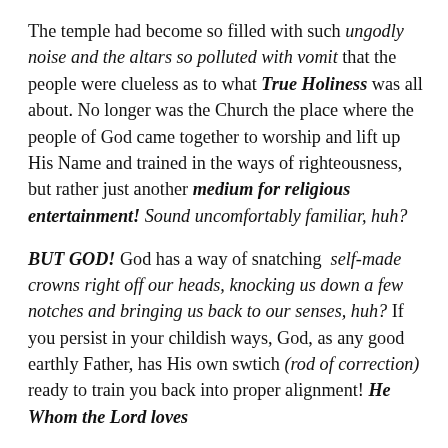The temple had become so filled with such ungodly noise and the altars so polluted with vomit that the people were clueless as to what True Holiness was all about. No longer was the Church the place where the people of God came together to worship and lift up His Name and trained in the ways of righteousness, but rather just another medium for religious entertainment! Sound uncomfortably familiar, huh?

BUT GOD! God has a way of snatching self-made crowns right off our heads, knocking us down a few notches and bringing us back to our senses, huh? If you persist in your childish ways, God, as any good earthly Father, has His own swtich (rod of correction) ready to train you back into proper alignment! He Whom the Lord loves